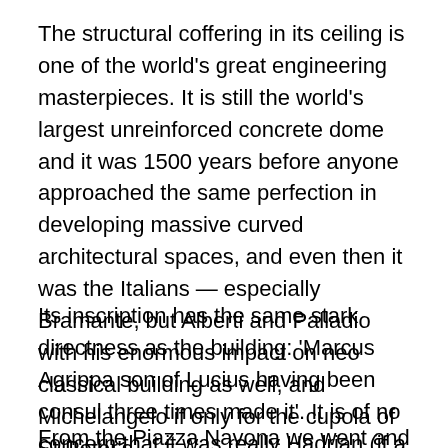The structural coffering in its ceiling is one of the world's great engineering masterpieces. It is still the world's largest unreinforced concrete dome and it was 1500 years before anyone approached the same perfection in developing massive curved architectural spaces, and even then it was the Italians — especially Bramante, but Alberti and Palladio with his enormous impact on neo classical building as well, and Michelangelo if only for the cupola of St Peter's.
Its inscription has the same stark directness as the building: 'Marcus Agrippa son of Lucius having been consul three times made it'. It is of no concern that it was really Hadrian (if a politician  can be truly said to be a builder).
From the Piazza Navona we went and found where we'd